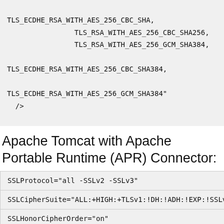TLS_ECDHE_RSA_WITH_AES_256_CBC_SHA,
                TLS_RSA_WITH_AES_256_CBC_SHA256,
                TLS_RSA_WITH_AES_256_GCM_SHA384,

TLS_ECDHE_RSA_WITH_AES_256_CBC_SHA384,

TLS_ECDHE_RSA_WITH_AES_256_GCM_SHA384"
  />
Apache Tomcat with Apache Portable Runtime (APR) Connector:
| SSLProtocol="all -SSLv2 -SSLv3" |
| SSLCipherSuite="ALL:+HIGH:+TLSv1:!DH:!ADH:!EXP:!SSLv2 |
| SSLHonorCipherOrder="on" |